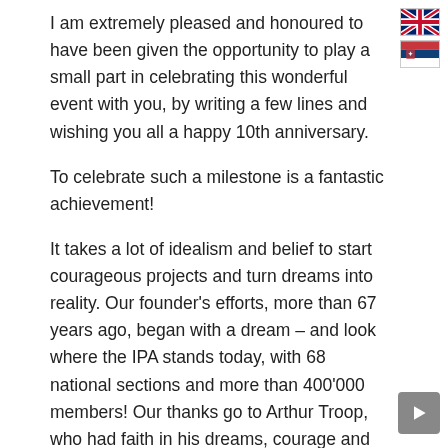[Figure (illustration): UK flag icon (Union Jack) and Serbian flag icon stacked vertically in top-right corner]
I am extremely pleased and honoured to have been given the opportunity to play a small part in celebrating this wonderful event with you, by writing a few lines and wishing you all a happy 10th anniversary.
To celebrate such a milestone is a fantastic achievement!
It takes a lot of idealism and belief to start courageous projects and turn dreams into reality. Our founder's efforts, more than 67 years ago, began with a dream – and look where the IPA stands today, with 68 national sections and more than 400'000 members! Our thanks go to Arthur Troop, who had faith in his dreams, courage and the most solid will to succeed.
The founders of IPA Serbia showed the same idealism and shared the same dream more than 10 years ago, when they